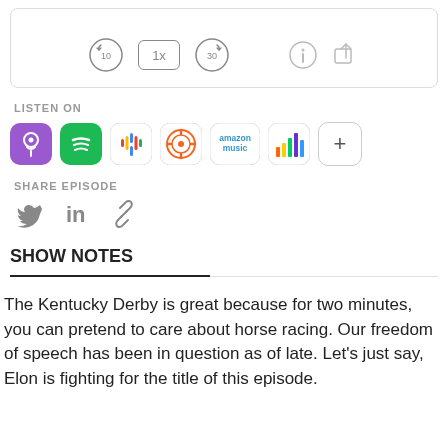[Figure (screenshot): Podcast player controls bar showing rewind 10s button, 1x speed button, forward 30s button, info icon, and share icon inside a rounded rectangle border.]
LISTEN ON
[Figure (infographic): Row of podcast platform icons: Apple Podcasts (purple), Spotify (green), Google Podcasts (colorful dots), Overcast (orange), Amazon Music (text), deezer (colorful bars), and a plus button.]
SHARE EPISODE
[Figure (infographic): Row of social share icons: Twitter bird, LinkedIn 'in', and link/chain icon, all in gray.]
SHOW NOTES
The Kentucky Derby is great because for two minutes, you can pretend to care about horse racing. Our freedom of speech has been in question as of late. Let's just say, Elon is fighting for the title of this episode.